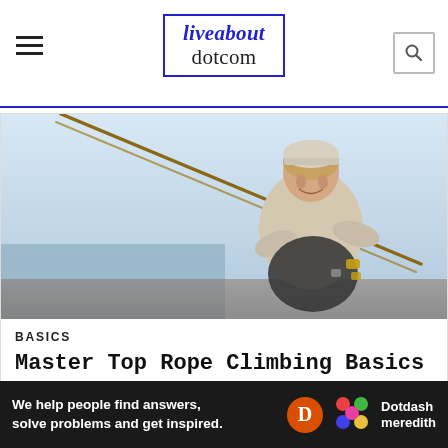liveabout dotcom
[Figure (photo): Woman rock climber smiling, wearing a helmet, holding ropes on a cliff with ocean/sky background]
BASICS
Master Top Rope Climbing Basics
[Figure (photo): Partial view of rock climber on rock face (second article card, cropped at bottom of page)]
Ad
We help people find answers, solve problems and get inspired. Dotdash meredith